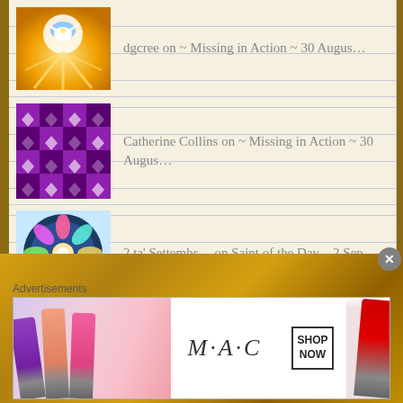dgcree on ~ Missing in Action ~ 30 Augus…
Catherine Collins on ~ Missing in Action ~ 30 Augus…
2 ta' Settembr… on Saint of the Day – 2 Sep…
Jane Mullikin on ~ Missing in Action ~ 30 Augus…
hughie1 on ~ Missing in Action ~ 30 Augus…
Advertisements
[Figure (photo): MAC cosmetics advertisement showing lipsticks with MAC logo and SHOP NOW button]